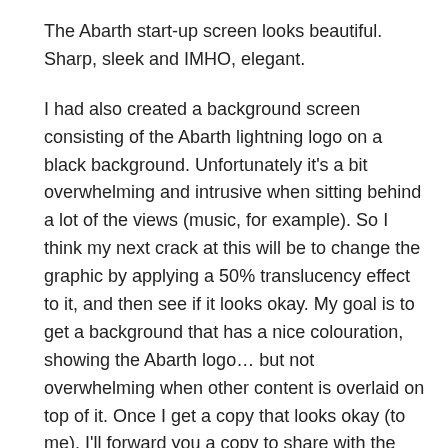The Abarth start-up screen looks beautiful. Sharp, sleek and IMHO, elegant.
I had also created a background screen consisting of the Abarth lightning logo on a black background. Unfortunately it's a bit overwhelming and intrusive when sitting behind a lot of the views (music, for example). So I think my next crack at this will be to change the graphic by applying a 50% translucency effect to it, and then see if it looks okay. My goal is to get a background that has a nice colouration, showing the Abarth logo… but not overwhelming when other content is overlaid on top of it. Once I get a copy that looks okay (to me), I'll forward you a copy to share with the other Abarth